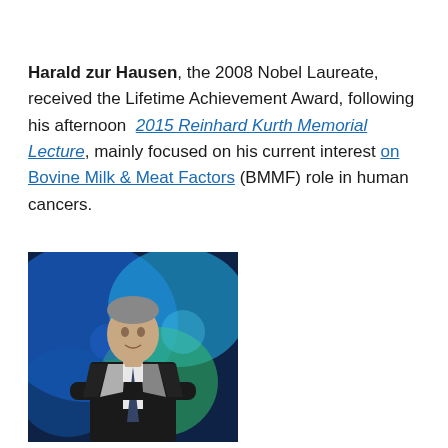Harald zur Hausen, the 2008 Nobel Laureate, received the Lifetime Achievement Award, following his afternoon 2015 Reinhard Kurth Memorial Lecture, mainly focused on his current interest on Bovine Milk & Meat Factors (BMMF) role in human cancers.
[Figure (photo): Portrait photo of Harald zur Hausen in a dark suit with arms crossed, against a colorful blue and green microscopy background]